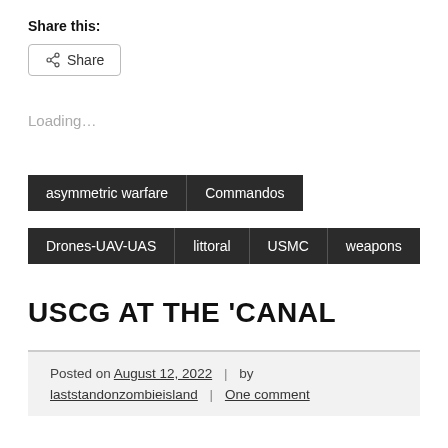Share this:
< Share
Loading...
asymmetric warfare
Commandos
Drones-UAV-UAS
littoral
USMC
weapons
USCG AT THE 'CANAL
Posted on August 12, 2022 | by laststandonzombieisland | One comment
In July 1940, the Coast Guard numbered just 13,766 officers and men of all ranks, spread out from the Philipines to the Virgin Islands. By July 1942, it would